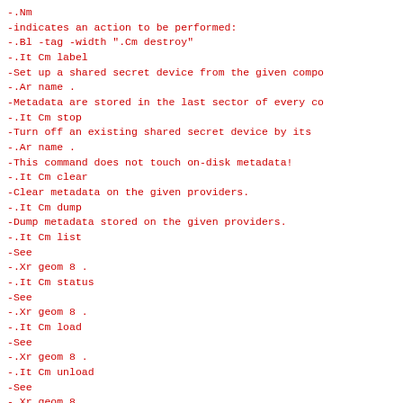-.Nm
-indicates an action to be performed:
-.Bl -tag -width ".Cm destroy"
-.It Cm label
-Set up a shared secret device from the given compo
-.Ar name .
-Metadata are stored in the last sector of every co
-.It Cm stop
-Turn off an existing shared secret device by its
-.Ar name .
-This command does not touch on-disk metadata!
-.It Cm clear
-Clear metadata on the given providers.
-.It Cm dump
-Dump metadata stored on the given providers.
-.It Cm list
-See
-.Xr geom 8 .
-.It Cm status
-See
-.Xr geom 8 .
-.It Cm load
-See
-.Xr geom 8 .
-.It Cm unload
-See
-.Xr geom 8 .
-.El
-.Pp
-Additional options: